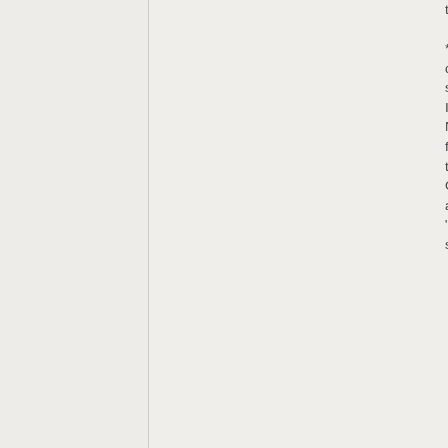the State?"

*You're taking this out of context.  I'm ::not:: speaking of the State -- I'm speaking of religion. No one should be forced/coerced/intimidated to "have to" believe in God, heaven, ####, an afterlife, etc. However, "the State" can be substituted for